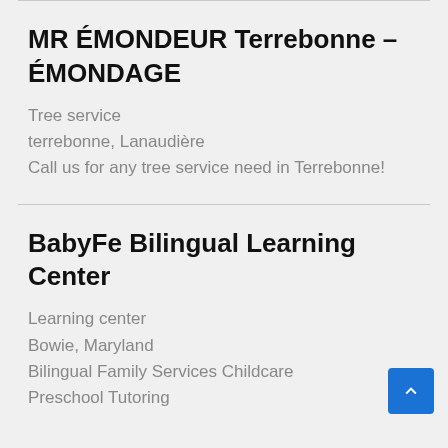MR ÉMONDEUR Terrebonne – ÉMONDAGE
Tree service
terrebonne, Lanaudière
Call us for any tree service need in Terrebonne!
BabyFe Bilingual Learning Center
Learning center
Bowie, Maryland
Bilingual Family Services Childcare
Preschool Tutoring